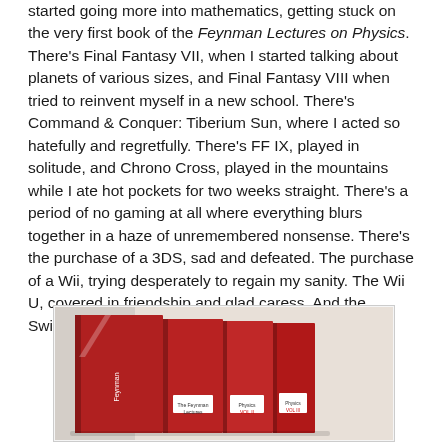started going more into mathematics, getting stuck on the very first book of the Feynman Lectures on Physics. There's Final Fantasy VII, when I started talking about planets of various sizes, and Final Fantasy VIII when tried to reinvent myself in a new school. There's Command & Conquer: Tiberium Sun, where I acted so hatefully and regretfully. There's FF IX, played in solitude, and Chrono Cross, played in the mountains while I ate hot pockets for two weeks straight. There's a period of no gaming at all where everything blurs together in a haze of unremembered nonsense. There's the purchase of a 3DS, sad and defeated. The purchase of a Wii, trying desperately to regain my sanity. The Wii U, covered in friendship and glad caress. And the Switch, lazy and eager.
[Figure (photo): A photo of the Feynman Lectures on Physics book set — three red hardcover volumes standing upright.]